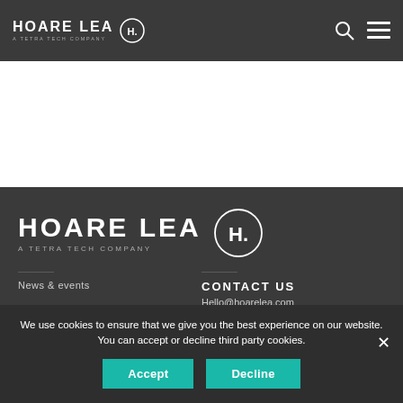HOARE LEA — A TETRA TECH COMPANY
[Figure (logo): Hoare Lea logo in footer — white text with circle H. emblem]
News & events
CONTACT US
Hello@hoarelea.com
We use cookies to ensure that we give you the best experience on our website. You can accept or decline third party cookies.